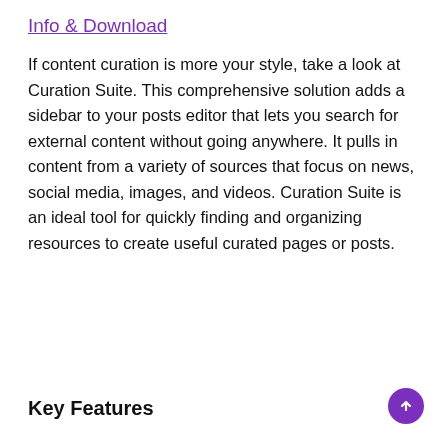Info & Download
If content curation is more your style, take a look at Curation Suite. This comprehensive solution adds a sidebar to your posts editor that lets you search for external content without going anywhere. It pulls in content from a variety of sources that focus on news, social media, images, and videos. Curation Suite is an ideal tool for quickly finding and organizing resources to create useful curated pages or posts.
Key Features